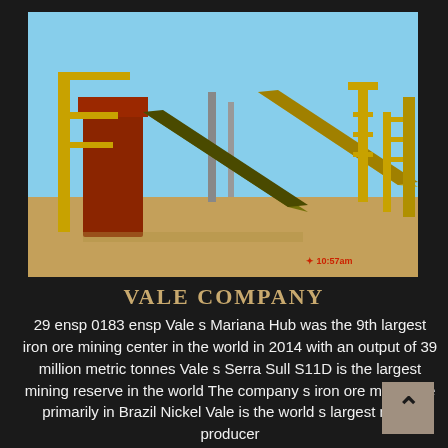[Figure (photo): Industrial mining facility with large yellow conveyor belts and red steel structures under a clear blue sky, sandy ground, timestamp 10:57am visible in lower right of photo]
VALE COMPANY
29 ensp 0183 ensp Vale s Mariana Hub was the 9th largest iron ore mining center in the world in 2014 with an output of 39 million metric tonnes Vale s Serra Sull S11D is the largest mining reserve in the world The company s iron ore mines are primarily in Brazil Nickel Vale is the world s largest nickel producer